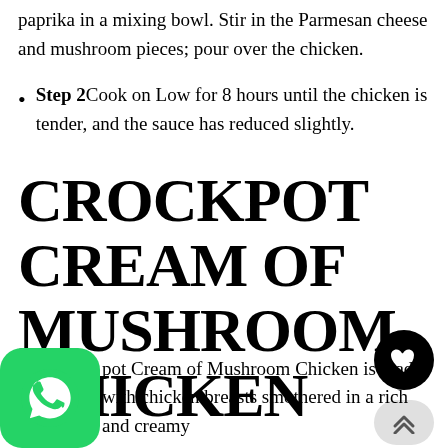paprika in a mixing bowl. Stir in the Parmesan cheese and mushroom pieces; pour over the chicken.
Step 2Cook on Low for 8 hours until the chicken is tender, and the sauce has reduced slightly.
CROCKPOT CREAM OF MUSHROOM CHICKEN
pot Cream of Mushroom Chicken is made with chicken breasts smothered in a rich and creamy